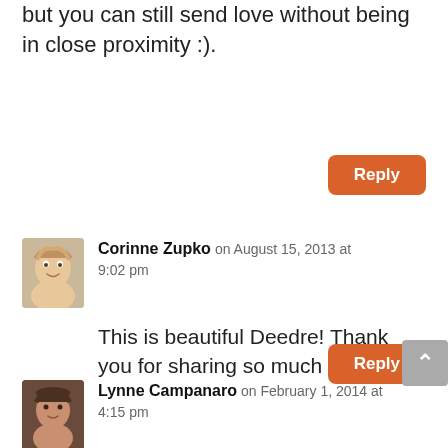but you can still send love without being in close proximity :).
Reply
Corinne Zupko on August 15, 2013 at 9:02 pm
This is beautiful Deedre! Thank you for sharing so much light!!
Reply
Lynne Campanaro on February 1, 2014 at 4:15 pm